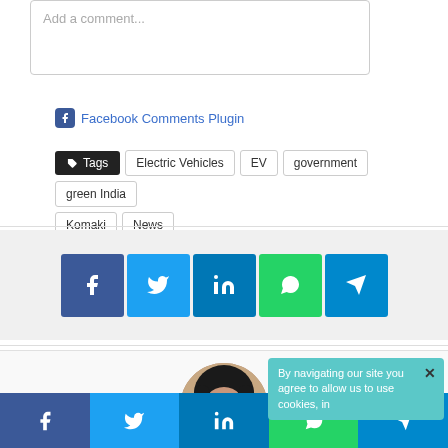[Figure (screenshot): Textarea input with placeholder text 'Add a comment...']
Facebook Comments Plugin
Tags   Electric Vehicles   EV   government   green India   Komaki   News
[Figure (infographic): Social share buttons: Facebook, Twitter, LinkedIn, WhatsApp, Telegram]
[Figure (photo): Author profile photo - woman with dark hair]
By navigating our site you agree to allow us to use cookies, in
[Figure (infographic): Bottom share bar: Facebook, Twitter, LinkedIn, WhatsApp, Telegram]